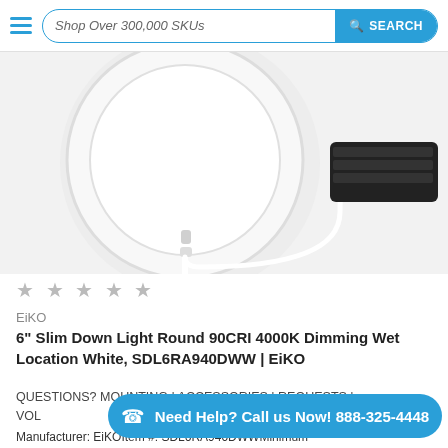Shop Over 300,000 SKUs  SEARCH
[Figure (photo): Product photo of a 6 inch slim round LED downlight (white circular panel) with a white cable connector leading to a black junction box/driver module, shown against a white background.]
★ ★ ★ ★ ★
EiKO
6" Slim Down Light Round 90CRI 4000K Dimming Wet Location White, SDL6RA940DWW | EiKO
QUESTIONS? MOUNTING | ACCESSORIES | REQUESTS | VOLUME | Lighting
Need Help? Call us Now! 888-325-4448
Manufacturer: EiKOItem #: SDL6RA940DWWMinimum